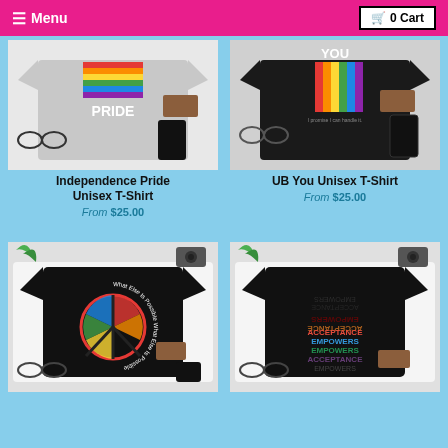☰ Menu | 🛒 0 Cart
[Figure (photo): Gray t-shirt with rainbow stripes and PRIDE text, laid flat with accessories]
Independence Pride Unisex T-Shirt
From $25.00
[Figure (photo): Black t-shirt with rainbow stripes and YOU text, laid flat with accessories]
UB You Unisex T-Shirt
From $25.00
[Figure (photo): Black t-shirt with peace sign and rainbow design, circular text 'What Else Is Possible']
[Figure (photo): Black t-shirt with ACCEPTANCE EMPOWERS text repeated in colorful rainbow styling]